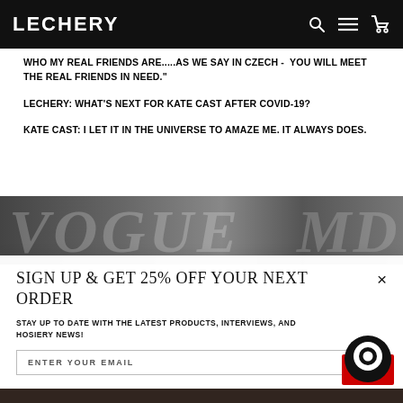LECHERY
WHO MY REAL FRIENDS ARE.....AS WE SAY IN CZECH - YOU WILL MEET THE REAL FRIENDS IN NEED."
LECHERY: WHAT'S NEXT FOR KATE CAST AFTER COVID-19?
KATE CAST: I LET IT IN THE UNIVERSE TO AMAZE ME. IT ALWAYS DOES.
[Figure (photo): Black and white photo with text overlay, partially visible, appears to show VOGUE text]
SIGN UP & GET 25% OFF YOUR NEXT ORDER
STAY UP TO DATE WITH THE LATEST PRODUCTS, INTERVIEWS, AND HOSIERY NEWS!
ENTER YOUR EMAIL
[Figure (other): Black circular chat button icon on red/white background]
[Figure (photo): Dark image strip at bottom of page]